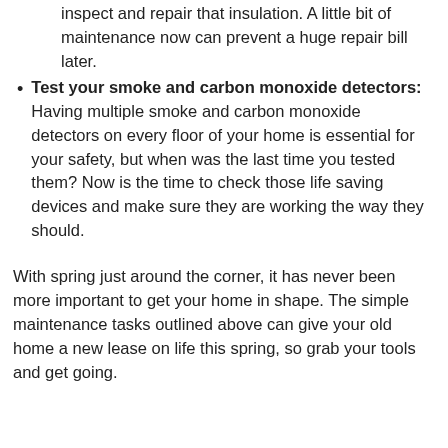inspect and repair that insulation. A little bit of maintenance now can prevent a huge repair bill later.
Test your smoke and carbon monoxide detectors: Having multiple smoke and carbon monoxide detectors on every floor of your home is essential for your safety, but when was the last time you tested them? Now is the time to check those life saving devices and make sure they are working the way they should.
With spring just around the corner, it has never been more important to get your home in shape. The simple maintenance tasks outlined above can give your old home a new lease on life this spring, so grab your tools and get going.